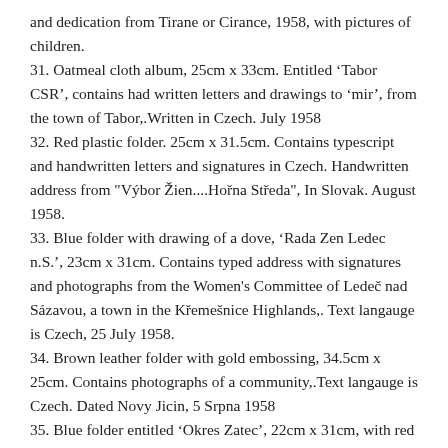and dedication from Tirane or Cirance, 1958, with pictures of children.
31. Oatmeal cloth album, 25cm x 33cm. Entitled ‘Tabor CSR’, contains had written letters and drawings to ‘mir’, from the town of Tabor,.Written in Czech. July 1958
32. Red plastic folder. 25cm x 31.5cm. Contains typescript and handwritten letters and signatures in Czech. Handwritten address from "Výbor Žien....Hoŕna Středa", In Slovak. August 1958.
33. Blue folder with drawing of a dove, ‘Rada Zen Ledec n.S.’, 23cm x 31cm. Contains typed address with signatures and photographs from the Women's Committee of Ledeč nad Sázavou, a town in the Křemešnice Highlands,. Text langauge is Czech, 25 July 1958.
34. Brown leather folder with gold embossing, 34.5cm x 25cm. Contains photographs of a community,.Text langauge is Czech. Dated Novy Jicin, 5 Srpna 1958
35. Blue folder entitled ‘Okres Zatec’, 22cm x 31cm, with red white and blue ribbon. Contains illustrations relating to ‘mir’ (peace), addresses and signatures,. Text Language is Czech, 1958
36. Green plastic folder with red white and blue ribbon, 31.5cm x 23cm. Contains signed addresses in Czech,. Has mention of Prague,